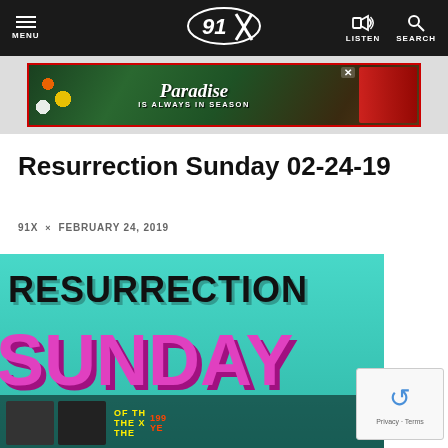91X — MENU | LISTEN | SEARCH
[Figure (photo): Paradise IS ALWAYS IN SEASON advertisement banner with tropical flowers and beverage cans]
Resurrection Sunday 02-24-19
91X × FEBRUARY 24, 2019
[Figure (photo): Resurrection Sunday promotional image with teal background, bold black text 'RESURRECTION' and pink text 'SUNDAY']